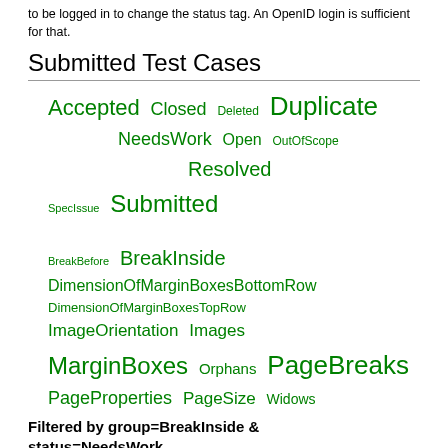to be logged in to change the status tag. An OpenID login is sufficient for that.
Submitted Test Cases
[Figure (other): Tag cloud with status tags (Accepted, Closed, Deleted, Duplicate, NeedsWork, Open, OutOfScope, Resolved, SpecIssue, Submitted) and group tags (BreakBefore, BreakInside, DimensionOfMarginBoxesBottomRow, DimensionOfMarginBoxesTopRow, ImageOrientation, Images, MarginBoxes, Orphans, PageBreaks, PageProperties, PageSize, Widows) in varying green font sizes.]
Filtered by group=BreakInside & status=NeedsWork
Show all (remove filter/sort)
| Submission | Status | Authors | ↓ Groups | URL |
| --- | --- | --- | --- | --- |
| Nothing found |  |  |  |  |